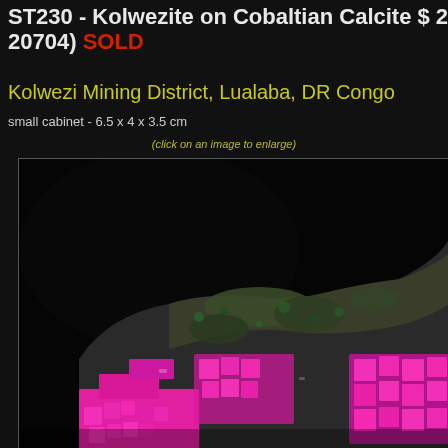ST230 - Kolwezite on Cobaltian Calcite $ 20... 20704) SOLD
Kolwezi Mining District, Lualaba, DR Congo
small cabinet - 6.5 x 4 x 3.5 cm
(click on an image to enlarge)
[Figure (photo): Close-up photograph of a Kolwezite on Cobaltian Calcite mineral specimen showing vivid magenta/pink cubic crystals of kolwezite and dark green matrix against a black background. The specimen is from Kolwezi Mining District, Lualaba, DR Congo.]